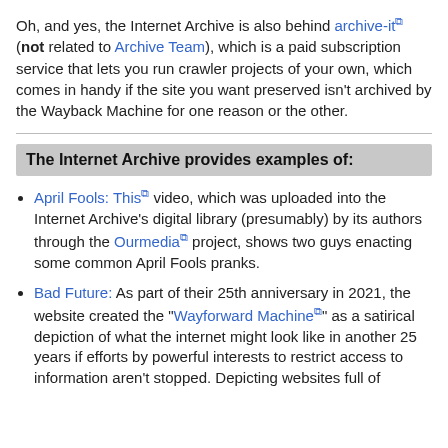Oh, and yes, the Internet Archive is also behind archive-it (not related to Archive Team), which is a paid subscription service that lets you run crawler projects of your own, which comes in handy if the site you want preserved isn't archived by the Wayback Machine for one reason or the other.
The Internet Archive provides examples of:
April Fools: This video, which was uploaded into the Internet Archive's digital library (presumably) by its authors through the Ourmedia project, shows two guys enacting some common April Fools pranks.
Bad Future: As part of their 25th anniversary in 2021, the website created the "Wayforward Machine" as a satirical depiction of what the internet might look like in another 25 years if efforts by powerful interests to restrict access to information aren't stopped. Depicting websites full of